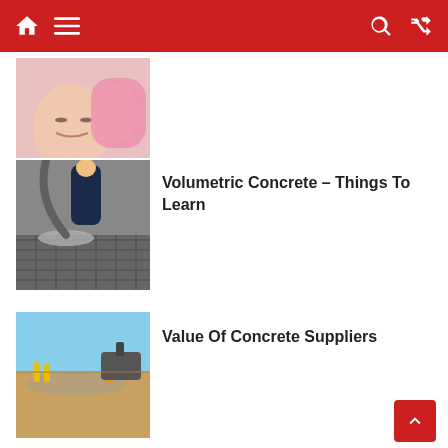Navigation bar with home, menu, search, and shuffle icons
[Figure (photo): Close-up of a person's face with eyes closed and a pink-gloved hand near the ear/head]
[Figure (photo): Concrete being poured over a reinforced steel mesh surface, construction worker visible]
Volumetric Concrete – Things To Learn
[Figure (photo): Aerial view of a concrete pouring site with workers and machinery under a blue sky]
Value Of Concrete Suppliers
[Figure (photo): Two people in a training/classroom setting with laptops, a presenter stands in the background]
Excel Training Online – Things To Be Aware Of